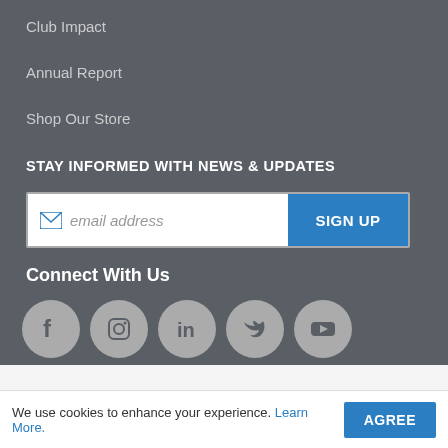Club Impact
Annual Report
Shop Our Store
STAY INFORMED WITH NEWS & UPDATES
email address | SIGN UP
Connect With Us
[Figure (infographic): Five social media icons in grey circles: Facebook, Instagram, LinkedIn, Twitter, YouTube]
We use cookies to enhance your experience. Learn More. | AGREE